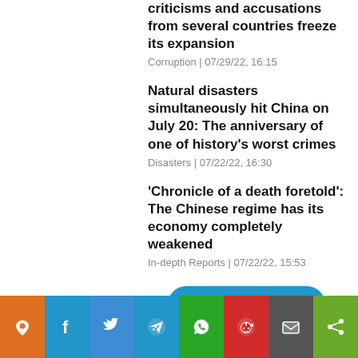criticisms and accusations from several countries freeze its expansion
Corruption | 07/29/22, 16:15
Natural disasters simultaneously hit China on July 20: The anniversary of one of history's worst crimes
Disasters | 07/22/22, 16:30
'Chronicle of a death foretold': The Chinese regime has its economy completely weakened
In-depth Reports | 07/22/22, 15:53
View more
[Figure (infographic): Social media sharing icons bar: orange pin icon, Facebook, Twitter, Telegram, WhatsApp, Reddit, email, share]